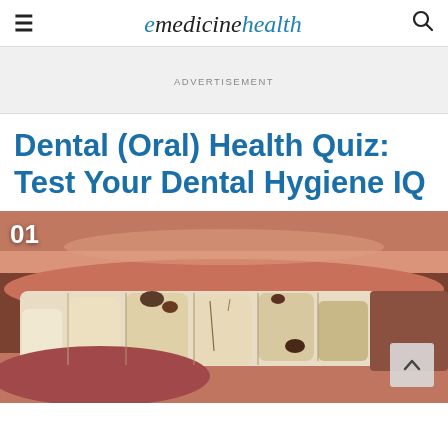emedicinehealth
ADVERTISEMENT
Dental (Oral) Health Quiz: Test Your Dental Hygiene IQ
[Figure (photo): Close-up photograph of an open mouth showing teeth with dental decay and dark cavities visible on the molars, with surrounding lip and gum tissue. Number '01' displayed in white text at top left, and a light gray chevron/up-arrow button at bottom right.]